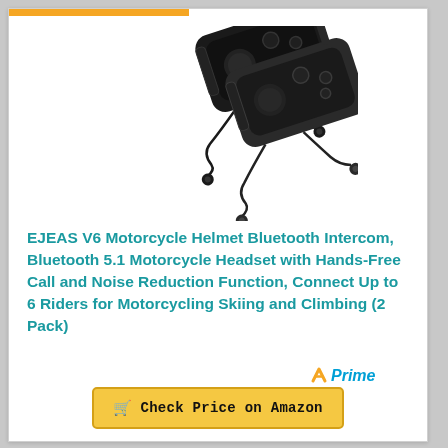[Figure (photo): Two black motorcycle helmet Bluetooth intercom headset units with antennas and earphone cables, shown side by side at an angle against white background.]
EJEAS V6 Motorcycle Helmet Bluetooth Intercom, Bluetooth 5.1 Motorcycle Headset with Hands-Free Call and Noise Reduction Function, Connect Up to 6 Riders for Motorcycling Skiing and Climbing (2 Pack)
[Figure (logo): Amazon Prime logo with orange checkmark and blue italic 'Prime' text]
Check Price on Amazon